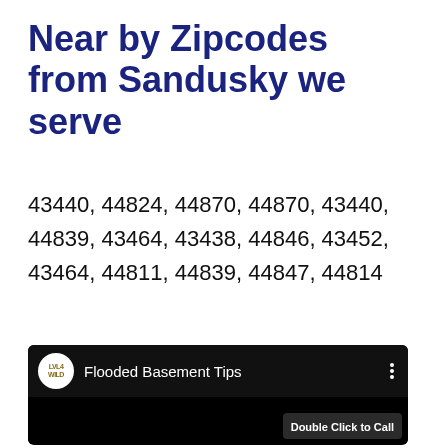Near by Zipcodes from Sandusky we serve
43440, 44824, 44870, 44870, 43440, 44839, 43464, 43438, 44846, 43452, 43464, 44811, 44839, 44847, 44814
[Figure (screenshot): YouTube-style video embed with channel icon labeled 'LVL4 WILD', title 'Flooded Basement Tips', three-dot menu icon, black video body, and a 'Double Click to Call' button overlay in bottom right, alongside a green phone call circle button.]